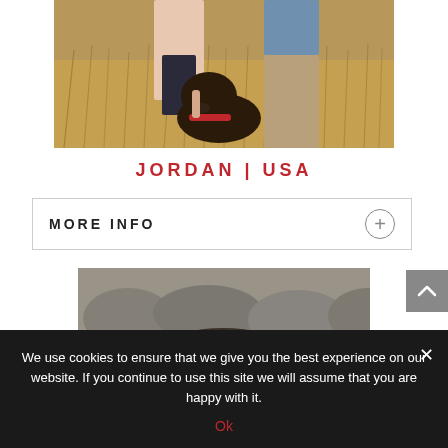[Figure (photo): Two people standing outdoors in a golden field with a dark chocolate Labrador dog sitting in front of them. The dog wears a red collar. One person wears a light pink sweater, the other wears a blue shirt and khaki pants.]
JORDAN | USA
MORE INFO
[Figure (photo): A dog viewed from above, resting near rocks.]
We use cookies to ensure that we give you the best experience on our website. If you continue to use this site we will assume that you are happy with it.
Ok